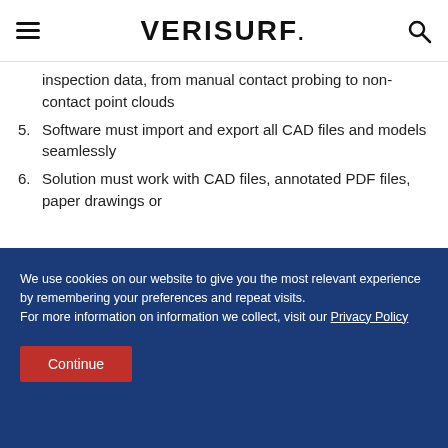VERISURF.
inspection data, from manual contact probing to non-contact point clouds
5. Software must import and export all CAD files and models seamlessly
6. Solution must work with CAD files, annotated PDF files, paper drawings or
We use cookies on our website to give you the most relevant experience by remembering your preferences and repeat visits.
For more information on information we collect, visit our Privacy Policy
Continue